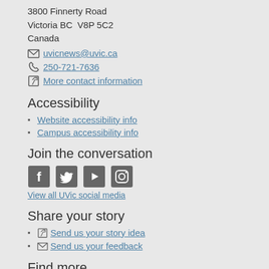3800 Finnerty Road
Victoria BC  V8P 5C2
Canada
uvicnews@uvic.ca
250-721-7636
More contact information
Accessibility
Website accessibility info
Campus accessibility info
Join the conversation
[Figure (infographic): Social media icons: Facebook, Twitter, YouTube, Instagram]
View all UVic social media
Share your story
Send us your story idea
Send us your feedback
Find more
Search
A-Z
Directories
Maps